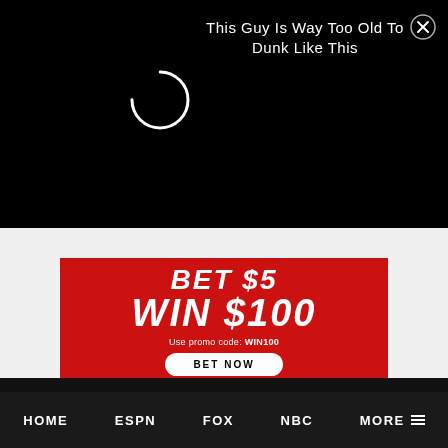[Figure (screenshot): Popup overlay with dark background showing text 'This Guy Is Way Too Old To Dunk Like This' and a close (X) button, with a loading spinner on the left side]
[Figure (infographic): Red sports betting advertisement banner: 'BET $5 WIN $100 Use promo code: WIN100' with a BET NOW button and gambling disclaimer text]
POPULAR POSTS
HOME  ESPN  FOX  NBC  MORE